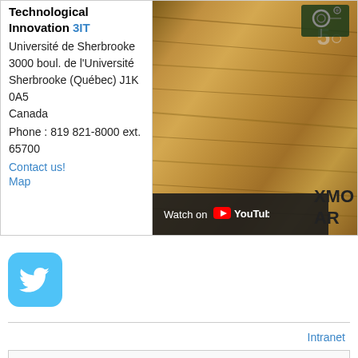Technological Innovation 3IT
Université de Sherbrooke
3000 boul. de l'Université
Sherbrooke (Québec) J1K 0A5
Canada
Phone : 819 821-8000 ext. 65700
Contact us!
Map
[Figure (photo): Photo of electronic circuit board on wood surface with YouTube 'Watch on' overlay bar and XMO AR text visible]
[Figure (logo): Twitter bird logo icon in blue rounded square]
Intranet
What links here
Related changes